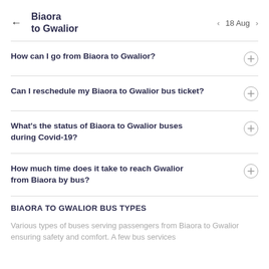Biaora to Gwalior  ← | 18 Aug ›
How can I go from Biaora to Gwalior?
Can I reschedule my Biaora to Gwalior bus ticket?
What's the status of Biaora to Gwalior buses during Covid-19?
How much time does it take to reach Gwalior from Biaora by bus?
BIAORA TO GWALIOR BUS TYPES
Various types of buses serving passengers from Biaora to Gwalior ensuring safety and comfort. A few bus services are...